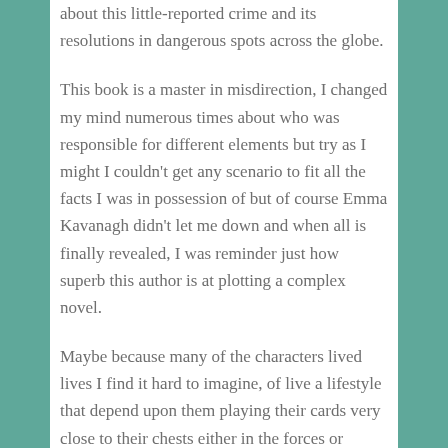about this little-reported crime and its resolutions in dangerous spots across the globe.
This book is a master in misdirection, I changed my mind numerous times about who was responsible for different elements but try as I might I couldn't get any scenario to fit all the facts I was in possession of but of course Emma Kavanagh didn't let me down and when all is finally revealed, I was reminder just how superb this author is at plotting a complex novel.
Maybe because many of the characters lived lives I find it hard to imagine, of live a lifestyle that depend upon them playing their cards very close to their chests either in the forces or carrying out difficult commissions to find kidnap victims, I didn't find I connected terribly well with any of them except the two police officers. That didn't stop them ruthless plot to race along at all